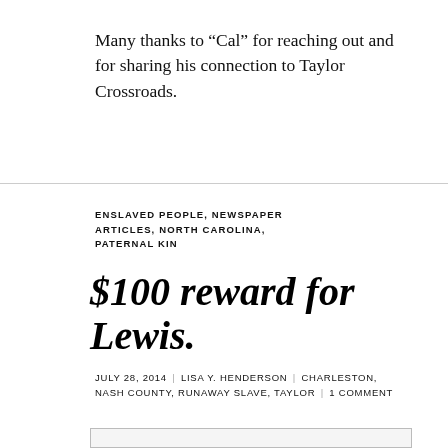Many thanks to “Cal” for reaching out and for sharing his connection to Taylor Crossroads.
ENSLAVED PEOPLE, NEWSPAPER ARTICLES, NORTH CAROLINA, PATERNAL KIN
$100 reward for Lewis.
JULY 28, 2014 | LISA Y. HENDERSON | CHARLESTON, NASH COUNTY, RUNAWAY SLAVE, TAYLOR | 1 COMMENT